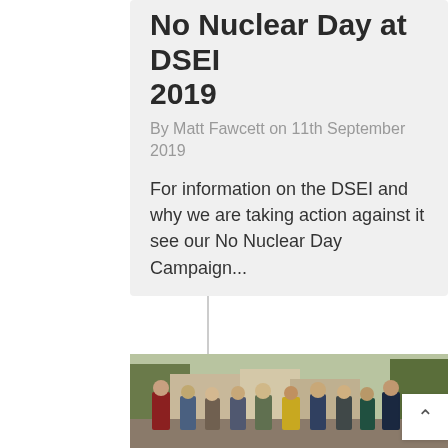No Nuclear Day at DSEI 2019
By Matt Fawcett on 11th September 2019
For information on the DSEI and why we are taking action against it see our No Nuclear Day Campaign...
7TH AUGUST 2019
[Figure (photo): Group of people gathered outdoors, likely at a protest or public gathering, trees and buildings visible in background]